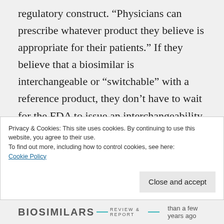regulatory construct. “Physicians can prescribe whatever product they believe is appropriate for their patients.” If they believe that a biosimilar is interchangeable or “switchable” with a reference product, they don’t have to wait for the FDA to issue an interchangeability designation. They just have to believe that prescribing the biosimilar product (whether covered by the medical or the pharmacy benefit) is in everyone’s best interest.
Privacy & Cookies: This site uses cookies. By continuing to use this website, you agree to their use.
To find out more, including how to control cookies, see here:
Cookie Policy
BIOSIMILARS REVIEW & REPORT — than a few years ago